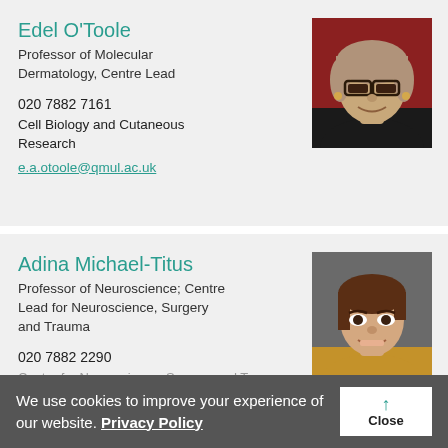Edel O'Toole
Professor of Molecular Dermatology, Centre Lead
020 7882 7161
Cell Biology and Cutaneous Research
e.a.otoole@qmul.ac.uk
[Figure (photo): Headshot of Edel O'Toole, woman with glasses and light hair, against dark red background]
Adina Michael-Titus
Professor of Neuroscience; Centre Lead for Neuroscience, Surgery and Trauma
020 7882 2290
Centre for Neuroscience, Surgery and Trauma
[Figure (photo): Headshot of Adina Michael-Titus, woman with brown hair, smiling, against neutral background]
We use cookies to improve your experience of our website. Privacy Policy